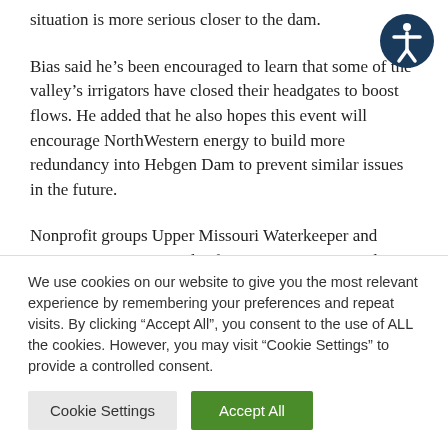situation is more serious closer to the dam.
Bias said he’s been encouraged to learn that some of the valley’s irrigators have closed their headgates to boost flows. He added that he also hopes this event will encourage NorthWestern energy to build more redundancy into Hebgen Dam to prevent similar issues in the future.
Nonprofit groups Upper Missouri Waterkeeper and Montana Environmental Information Center issued a
We use cookies on our website to give you the most relevant experience by remembering your preferences and repeat visits. By clicking “Accept All”, you consent to the use of ALL the cookies. However, you may visit “Cookie Settings” to provide a controlled consent.